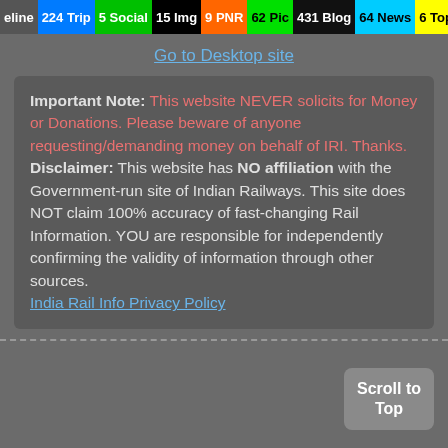eline 224 Trip 5 Social 15 Img 9 PNR 62 Pic 431 Blog 64 News 6 Topic
Go to Desktop site
Important Note: This website NEVER solicits for Money or Donations. Please beware of anyone requesting/demanding money on behalf of IRI. Thanks. Disclaimer: This website has NO affiliation with the Government-run site of Indian Railways. This site does NOT claim 100% accuracy of fast-changing Rail Information. YOU are responsible for independently confirming the validity of information through other sources. India Rail Info Privacy Policy
Scroll to Top